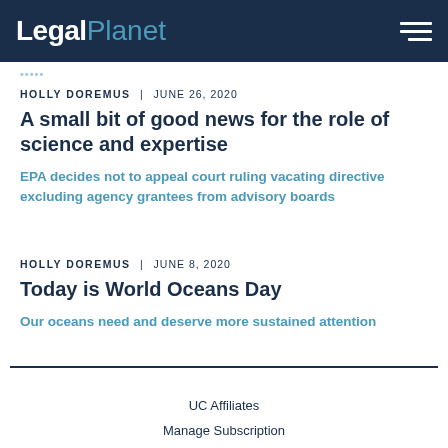LegalPlanet
HOLLY DOREMUS | JUNE 26, 2020
A small bit of good news for the role of science and expertise
EPA decides not to appeal court ruling vacating directive excluding agency grantees from advisory boards
HOLLY DOREMUS | JUNE 8, 2020
Today is World Oceans Day
Our oceans need and deserve more sustained attention
UC Affiliates
Manage Subscription